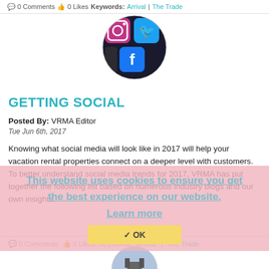0 Comments  0 Likes  Keywords: Arrival | The Trade
[Figure (photo): Circular cropped photo of social media app icons including Instagram, Twitter, Facebook on a dark background]
GETTING SOCIAL
Posted By: VRMA Editor
Tue Jun 6th, 2017
Knowing what social media will look like in 2017 will help your vacation rental properties connect on a deeper level with customers. To better understand social media trends for 2017, VRMA has put together the following list based on numerous industry blogs and our own insights.
This website uses cookies to ensure you get the best experience on our website. Learn more
✔ OK
0 Comments  0 Likes  Keywords: Arrival | The Trade
[Figure (photo): Circular cropped photo of a building/castle with sky background]